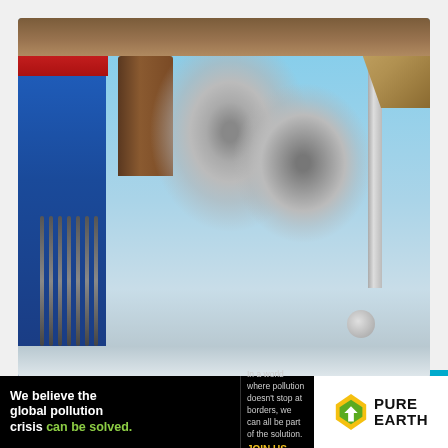[Figure (photo): Photo of a ship smokestack emitting a large plume of dark gray/brown smoke, viewed from the ship's deck through a window or frame. Blue containers visible on the left, clear sky in background, metal structural elements framing the image.]
... (partial date text, partially obscured)
[Figure (infographic): Pure Earth advertisement banner. Black background on left with white bold text 'We believe the global pollution crisis can be solved.' (with 'can be solved' in green). Center text: 'In a world where pollution doesn't stop at borders, we can all be part of the solution. JOIN US.' (JOIN US in yellow). Right side: white background with Pure Earth logo (yellow/green diamond shape with arrow icon) and PURE EARTH text in black.]